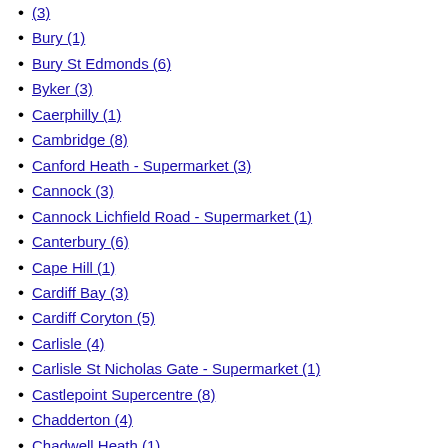(3)
Bury (1)
Bury St Edmonds (6)
Byker (3)
Caerphilly (1)
Cambridge (8)
Canford Heath - Supermarket (3)
Cannock (3)
Cannock Lichfield Road - Supermarket (1)
Canterbury (6)
Cape Hill (1)
Cardiff Bay (3)
Cardiff Coryton (5)
Carlisle (4)
Carlisle St Nicholas Gate - Supermarket (1)
Castlepoint Supercentre (8)
Chadderton (4)
Chadwell Heath (1)
Chapeltown - Sheffield (1)
Charlton (4)
Chatham (5)
Cheadle Hulme - Supermarket (2)
Chelmsford (11)
Chelmsley Wood (2)
Cheltenham (2)
Chepstow - Ambient Distribution Centre (4)